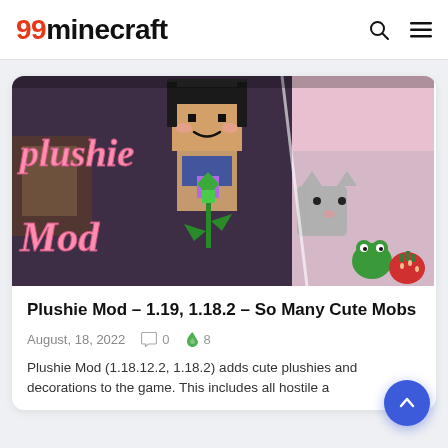99minecraft
[Figure (screenshot): Minecraft Plushie Mod promotional image showing a Minecraft-style character holding a flower with pink text 'plushie Mod' on the left and cute plushie animal mobs on the right side]
Plushie Mod – 1.19, 1.18.2 – So Many Cute Mobs
August, 18, 2022   0   8
Plushie Mod (1.18.12.2, 1.18.2) adds cute plushies and decorations to the game. This includes all hostile a